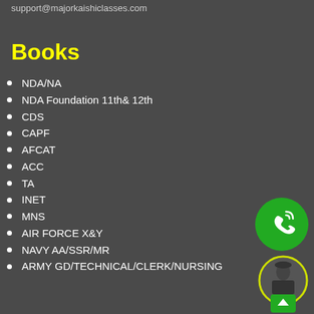support@majorkaishiclasses.com
Books
NDA/NA
NDA Foundation 11th& 12th
CDS
CAPF
AFCAT
ACC
TA
INET
MNS
AIR FORCE X&Y
NAVY AA/SSR/MR
ARMY GD/TECHNICAL/CLERK/NURSING
[Figure (illustration): Green phone/call icon circle]
[Figure (illustration): Avatar circle with military figure and green scroll-up button]